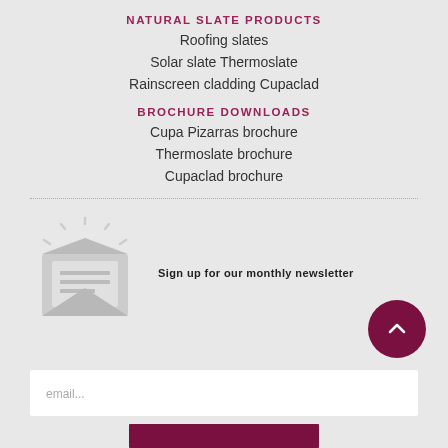NATURAL SLATE PRODUCTS
Roofing slates
Solar slate Thermoslate
Rainscreen cladding Cupaclad
BROCHURE DOWNLOADS
Cupa Pizarras brochure
Thermoslate brochure
Cupaclad brochure
[Figure (illustration): Open envelope newsletter icon in light grey]
Sign up for our monthly newsletter
email...